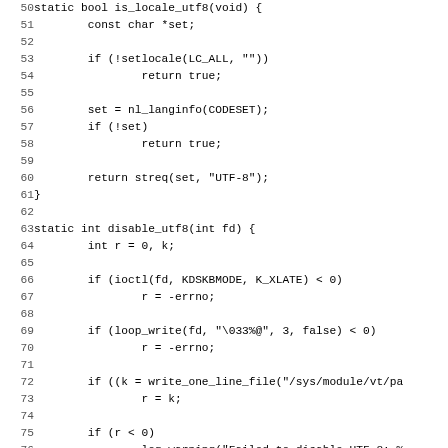[Figure (other): Source code listing in C, lines 50-82, showing functions is_locale_utf8 and disable_utf8 and the beginning of load_keymap]